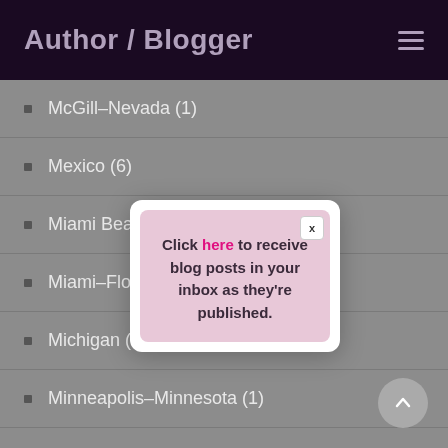Author / Blogger
McGill–Nevada (1)
Mexico (6)
Miami Beach–Fl
Miami–Florida (3)
Michigan (2)
Minneapolis–Minnesota (1)
Minnesota (2)
Mississippi (4)
[Figure (screenshot): Popup modal with pink background containing text: 'Click here to receive blog posts in your inbox as they're published.' with a close button (x) in top right corner.]